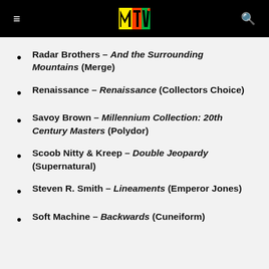MTV
Radar Brothers – And the Surrounding Mountains (Merge)
Renaissance – Renaissance (Collectors Choice)
Savoy Brown – Millennium Collection: 20th Century Masters (Polydor)
Scoob Nitty & Kreep – Double Jeopardy (Supernatural)
Steven R. Smith – Lineaments (Emperor Jones)
Soft Machine – Backwards (Cuneiform)